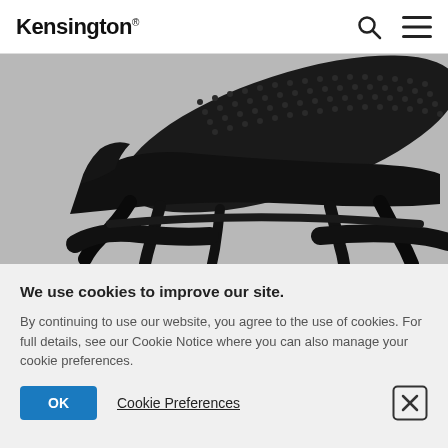Kensington
[Figure (photo): Black ergonomic footrest product shown at an angle against a gray background, displaying textured massage nodes on the top surface and adjustable angled support legs underneath.]
We use cookies to improve our site.
By continuing to use our website, you agree to the use of cookies. For full details, see our Cookie Notice where you can also manage your cookie preferences.
OK
Cookie Preferences